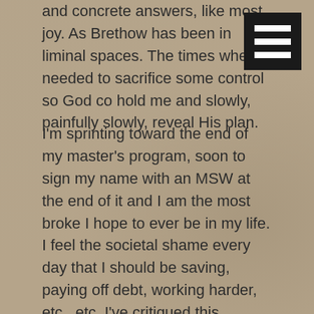and concrete answers, like most joy. As Brethow has been in liminal spaces. The times where needed to sacrifice some control so God could hold me and slowly, painfully slowly, reveal His plan.
[Figure (other): Hamburger menu icon — three horizontal white bars on a black square background]
I'm sprinting toward the end of my master's program, soon to sign my name with an MSW at the end of it and I am the most broke I hope to ever be in my life. I feel the societal shame every day that I should be saving, paying off debt, working harder, etc., etc. I've critiqued this Gospel passage before, "how can I not worry when if I stop worrying all the plates I'm spinning will fall and I'll let others down, that can't be God's will, to let everybody down, right?" When I